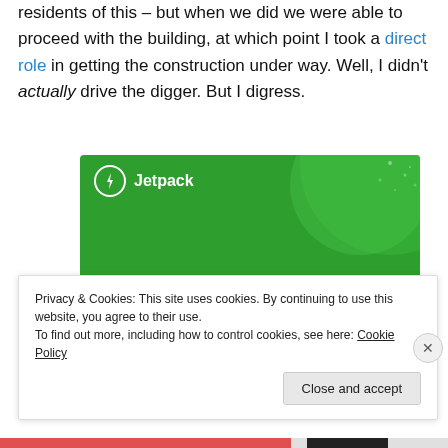residents of this – but when we did we were able to proceed with the building, at which point I took a direct role in getting the construction under way. Well, I didn't actually drive the digger. But I digress.
[Figure (illustration): Jetpack WordPress plugin advertisement banner. Green background with circular design elements. Shows Jetpack logo (lightning bolt in circle) and text 'The best real-time WordPress backup plugin'.]
Privacy & Cookies: This site uses cookies. By continuing to use this website, you agree to their use.
To find out more, including how to control cookies, see here: Cookie Policy